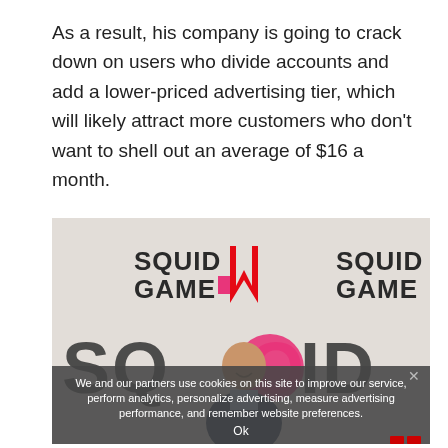As a result, his company is going to crack down on users who divide accounts and add a lower-priced advertising tier, which will likely attract more customers who don't want to shell out an average of $16 a month.
[Figure (photo): A man in a dark suit smiling and standing in front of a Squid Game branded backdrop with the Netflix logo. The backdrop shows 'SQUID GAME' text repeated and large stylized letters spelling 'SQUID'.]
We and our partners use cookies on this site to improve our service, perform analytics, personalize advertising, measure advertising performance, and remember website preferences.
Ok